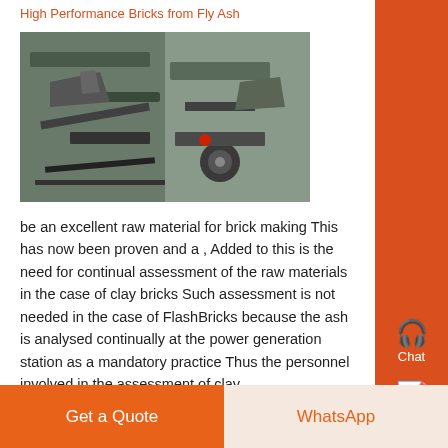High Performance Bricks from Fly Ash
[Figure (photo): Industrial machinery photograph showing metal components, possibly brick manufacturing equipment with mechanical parts and conveyor elements.]
be an excellent raw material for brick making This has now been proven and a , Added to this is the need for continual assessment of the raw materials in the case of clay bricks Such assessment is not needed in the case of FlashBricks because the ash is analysed continually at the power generation station as a mandatory practice Thus the personnel involved in the assessment of clay ....
Brick Production Technology - Bournemouth University